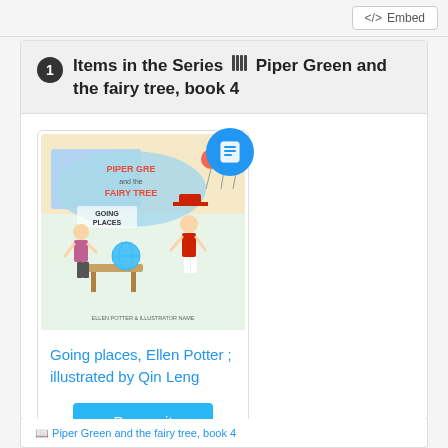</> Embed
1 Items in the Series ||| Piper Green and the fairy tree, book 4
[Figure (illustration): Book cover of 'Piper Green and the Fairy Tree: Going Places' by Ellen Potter, illustrated by Qin Leng. Shows a classroom scene with a girl and a character in a hat near a globe, with a blue circular badge in the top right corner showing a book icon.]
Going places, Ellen Potter ; illustrated by Qin Leng
Borrow it